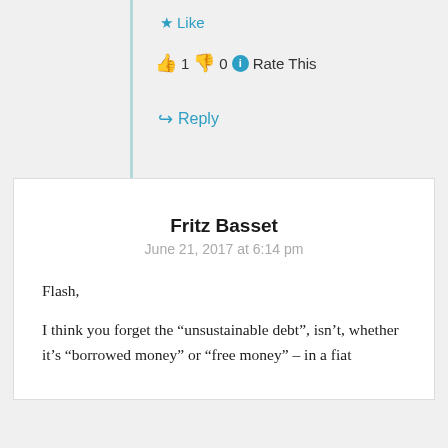★ Like
👍 1 👎 0 ℹ Rate This
↪ Reply
Fritz Basset
June 21, 2017 at 6:14 pm
Flash,

I think you forget the "unsustainable debt", isn't, whether it's "borrowed money" or "free money" – in a fiat